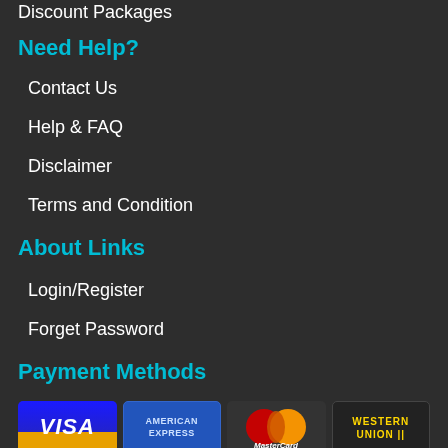Discount Packages
Need Help?
Contact Us
Help & FAQ
Disclaimer
Terms and Condition
About Links
Login/Register
Forget Password
Payment Methods
[Figure (logo): Payment method logos: Visa, American Express, MasterCard, Western Union, Discover, Solo, Delta, Cirrus]